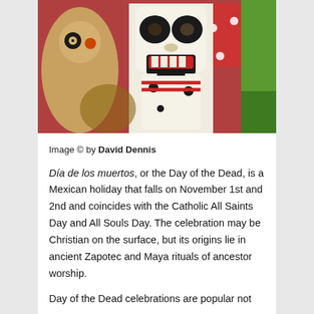[Figure (photo): Colorful Day of the Dead wooden skull figurines, with a prominent white skull with black eye sockets and red-painted mouth in focus, surrounded by other decorative folk art figures in red, green, and earth tones.]
Image © by David Dennis
Día de los muertos, or the Day of the Dead, is a Mexican holiday that falls on November 1st and 2nd and coincides with the Catholic All Saints Day and All Souls Day. The celebration may be Christian on the surface, but its origins lie in ancient Zapotec and Maya rituals of ancestor worship.
Day of the Dead celebrations are popular not